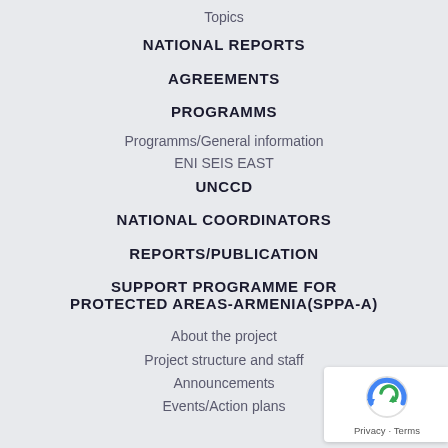Topics
NATIONAL REPORTS
AGREEMENTS
PROGRAMMS
Programms/General information
ENI SEIS EAST
UNCCD
NATIONAL COORDINATORS
REPORTS/PUBLICATION
SUPPORT PROGRAMME FOR PROTECTED AREAS-ARMENIA(SPPA-A)
About the project
Project structure and staff
Announcements
Events/Action plans
[Figure (logo): Google reCAPTCHA badge with Privacy and Terms links]